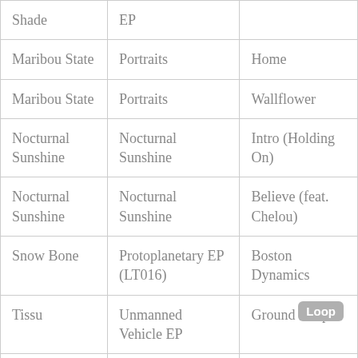| Shade | EP |  |
| Maribou State | Portraits | Home |
| Maribou State | Portraits | Wallflower |
| Nocturnal Sunshine | Nocturnal Sunshine | Intro (Holding On) |
| Nocturnal Sunshine | Nocturnal Sunshine | Believe (feat. Chelou) |
| Snow Bone | Protoplanetary EP (LT016) | Boston Dynamics |
| Tissu | Unmanned Vehicle EP | Ground Loop |
|  | Unmanned |  |